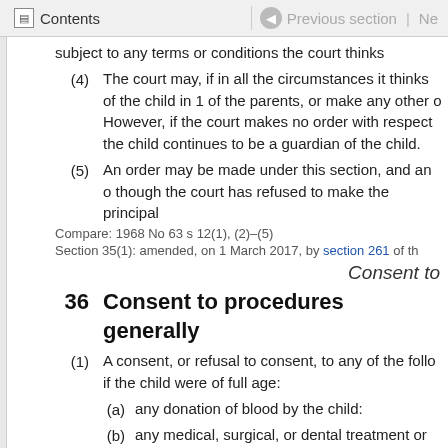Contents | Previous section | Ne
(truncated top) subject to any terms or conditions the court thinks
(4) The court may, if in all the circumstances it thinks of the child in 1 of the parents, or make any other o However, if the court makes no order with respect the child continues to be a guardian of the child.
(5) An order may be made under this section, and an o though the court has refused to make the principal
Compare: 1968 No 63 s 12(1), (2)–(5)
Section 35(1): amended, on 1 March 2017, by section 261 of th
Consent to
36 Consent to procedures generally
(1) A consent, or refusal to consent, to any of the follo if the child were of full age:
(a) any donation of blood by the child:
(b) any medical, surgical, or dental treatment or the meaning given to it by section 37(1)) to b